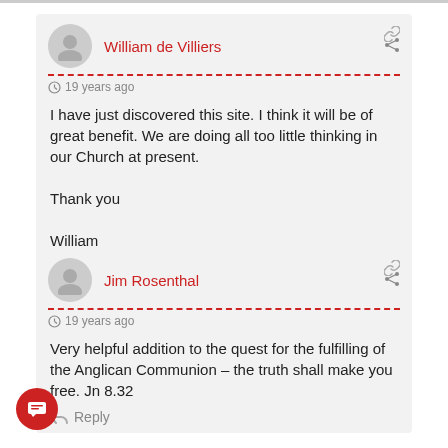William de Villiers
19 years ago
I have just discovered this site. I think it will be of great benefit. We are doing all too little thinking in our Church at present.

Thank you

William
Reply
Jim Rosenthal
19 years ago
Very helpful addition to the quest for the fulfilling of the Anglican Communion – the truth shall make you free. Jn 8.32
Reply